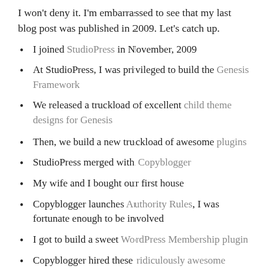I won't deny it. I'm embarrassed to see that my last blog post was published in 2009. Let's catch up.
I joined StudioPress in November, 2009
At StudioPress, I was privileged to build the Genesis Framework
We released a truckload of excellent child theme designs for Genesis
Then, we build a new truckload of awesome plugins
StudioPress merged with Copyblogger
My wife and I bought our first house
Copyblogger launches Authority Rules, I was fortunate enough to be involved
I got to build a sweet WordPress Membership plugin
Copyblogger hired these ridiculously awesome